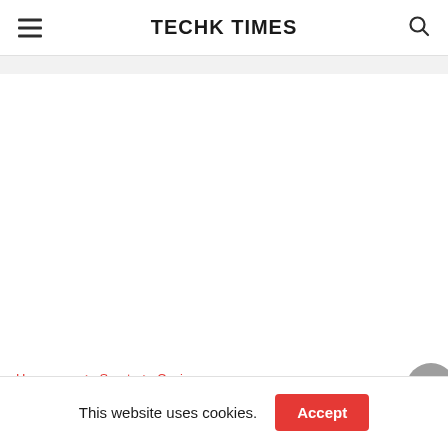TECHK TIMES
Homepage ► Sports ► Casino
This website uses cookies. Accept